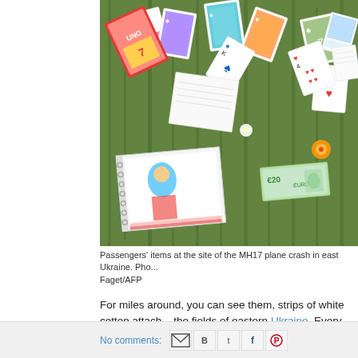[Figure (photo): Passengers' items scattered in a grassy field at the site of the MH17 plane crash in eastern Ukraine. Playing cards, a spiral notebook with drawings, banknotes and other debris visible among green grass and wildflowers.]
Passengers' items at the site of the MH17 plane crash in east Ukraine. Pho... Faget/AFP
For miles around, you can see them, strips of white cotton attach... the fields of eastern Ukraine. Every stake marks a victim from fli... body part. There are too many stakes.
Continue Checking It Out »
No comments: